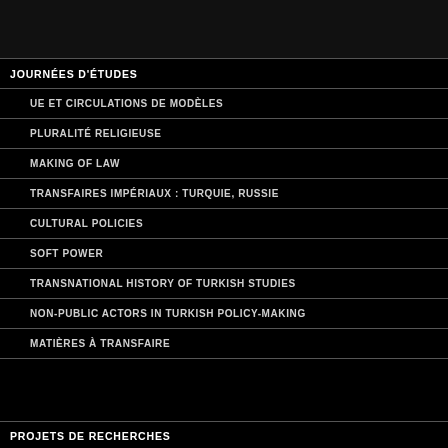JOURNÉES D'ÉTUDES
UE ET CIRCULATIONS DE MODÈLES
PLURALITÉ RELIGIEUSE
MAKING OF LAW
TRANSFAIRES IMPÉRIAUX : TURQUIE, RUSSIE
CULTURAL POLICIES
SOFT POWER
TRANSNATIONAL HISTORY OF TURKISH STUDIES
NON-PUBLIC ACTORS IN TURKISH POLICY-MAKING
MATIÈRES À TRANSFAIRE
PROJETS DE RECHERCHES